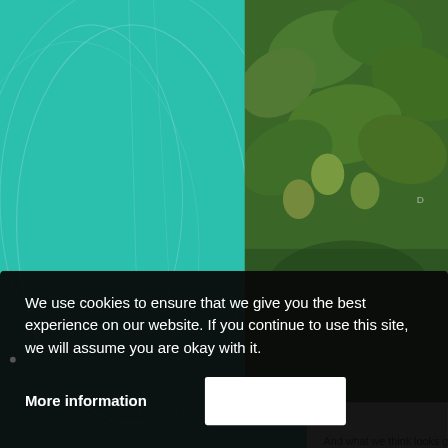[Figure (illustration): Teal/green decorative background with curved arc lines on left portion of page]
[Figure (photo): Close-up photograph of strawberry plant with green leaves and unripe strawberries]
And what we think looks good to us, upon f
We use cookies to ensure that we give you the best experience on our website. If you continue to use this site, we will assume you are okay with it.
More information